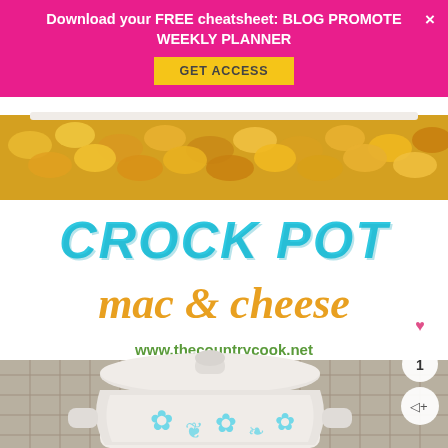[Figure (photo): Food blog page showing Crock Pot Mac & Cheese recipe image with orange/golden pasta in a dish at top, large text overlay reading 'CROCK POT mac & cheese' in teal and orange, website URL www.thecountrycook.net in green, and a white crock pot/slow cooker in the lower portion with decorative teal pattern]
Download your FREE cheatsheet: BLOG PROMOTE WEEKLY PLANNER
GET ACCESS